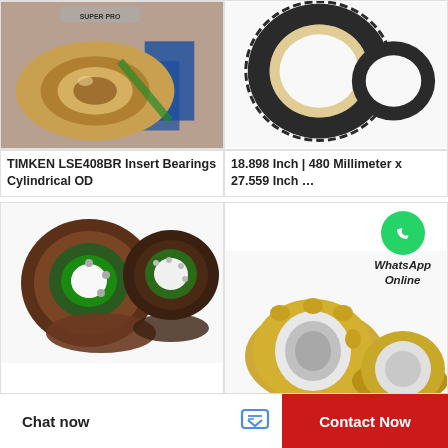[Figure (photo): TIMKEN LSE408BR Insert Bearing cylindrical OD — close-up photo of a large cylindrical bearing with bronze/gold coloring and SKF branded boxes in background]
TIMKEN LSE408BR Insert Bearings Cylindrical OD
[Figure (photo): 18.898 Inch | 480 Millimeter x 27.559 Inch ... — photo of two dark angular contact ball bearing rings on white background]
18.898 Inch | 480 Millimeter x 27.559 Inch …
[Figure (photo): Four small brown/bronze ball bearings with green seals, arranged in a cluster on white background]
[Figure (photo): Two cylindrical roller bearings with gold/brass and silver coloring, arranged on white background. WhatsApp Online badge in upper right corner.]
WhatsApp Online
Chat now   Contact Now